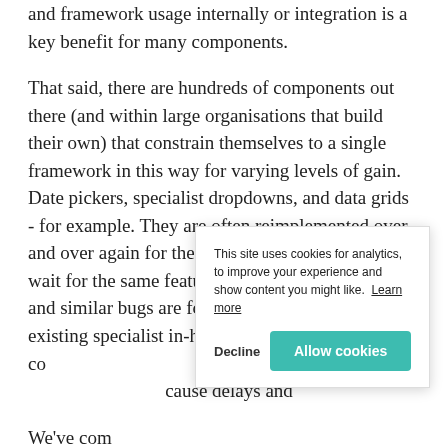and framework usage internally or integration is a key benefit for many components.
That said, there are hundreds of components out there (and within large organisations that build their own) that constrain themselves to a single framework in this way for varying levels of gain. Date pickers, specialist dropdowns, and data grids - for example. They are often reimplemented over and over again for the latest framework: consumers wait for the same features to be implemented, new and similar bugs are found. The need to use existing specialist in-house framework-specific components when adopting newer frameworks, or rewrite them, can cause delays and …
We've come a long way since the early advancements — … jQuery and exposed itself as a global or a jQuery plugin. But I think
This site uses cookies for analytics, to improve your experience and show content you might like. Learn more